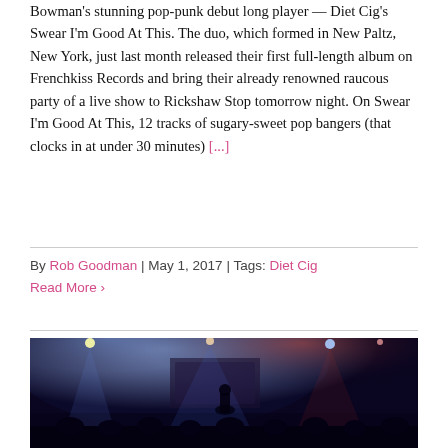Bowman's stunning pop-punk debut long player — Diet Cig's Swear I'm Good At This. The duo, which formed in New Paltz, New York, just last month released their first full-length album on Frenchkiss Records and bring their already renowned raucous party of a live show to Rickshaw Stop tomorrow night. On Swear I'm Good At This, 12 tracks of sugary-sweet pop bangers (that clocks in at under 30 minutes) [...]
By Rob Goodman | May 1, 2017 | Tags: Diet Cig
Read More ›
[Figure (photo): Concert photo showing performers on stage with blue and red stage lighting, crowd in foreground, banner visible in background]